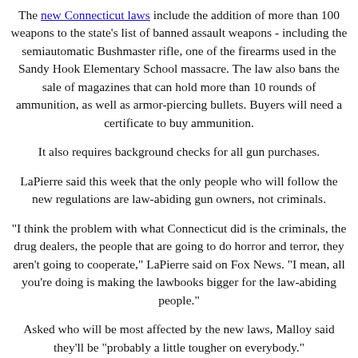The new Connecticut laws include the addition of more than 100 weapons to the state's list of banned assault weapons - including the semiautomatic Bushmaster rifle, one of the firearms used in the Sandy Hook Elementary School massacre. The law also bans the sale of magazines that can hold more than 10 rounds of ammunition, as well as armor-piercing bullets. Buyers will need a certificate to buy ammunition.
It also requires background checks for all gun purchases.
LaPierre said this week that the only people who will follow the new regulations are law-abiding gun owners, not criminals.
"I think the problem with what Connecticut did is the criminals, the drug dealers, the people that are going to do horror and terror, they aren't going to cooperate," LaPierre said on Fox News. "I mean, all you're doing is making the lawbooks bigger for the law-abiding people."
Asked who will be most affected by the new laws, Malloy said they'll be "probably a little tougher on everybody."
"This guy is so out of whack, it's unbelievable," Malloy told CNN's chief political correspondent, Candy Crowley, referring to LaPierre.